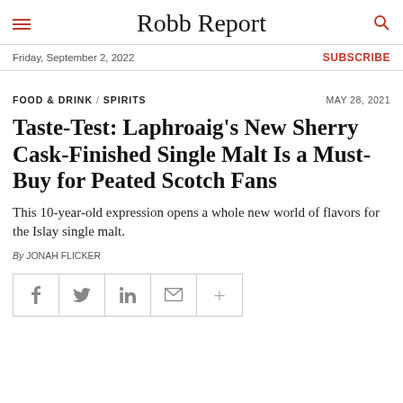Robb Report
Friday, September 2, 2022 | SUBSCRIBE
FOOD & DRINK / SPIRITS   MAY 28, 2021
Taste-Test: Laphroaig’s New Sherry Cask-Finished Single Malt Is a Must-Buy for Peated Scotch Fans
This 10-year-old expression opens a whole new world of flavors for the Islay single malt.
By JONAH FLICKER
[Figure (other): Social share buttons: Facebook, Twitter, LinkedIn, Email, More (+)]